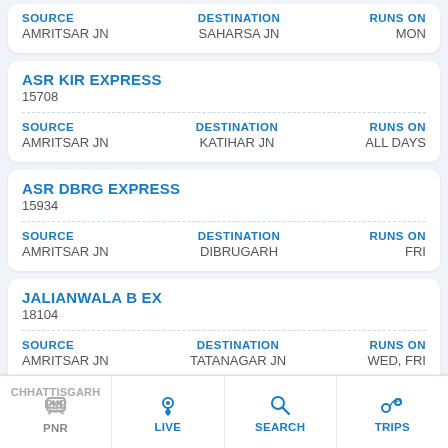| SOURCE | DESTINATION | RUNS ON |
| --- | --- | --- |
| AMRITSAR JN | SAHARSA JN | MON |
ASR KIR EXPRESS
15708
| SOURCE | DESTINATION | RUNS ON |
| --- | --- | --- |
| AMRITSAR JN | KATIHAR JN | ALL DAYS |
ASR DBRG EXPRESS
15934
| SOURCE | DESTINATION | RUNS ON |
| --- | --- | --- |
| AMRITSAR JN | DIBRUGARH | FRI |
JALIANWALA B EX
18104
| SOURCE | DESTINATION | RUNS ON |
| --- | --- | --- |
| AMRITSAR JN | TATANAGAR JN | WED, FRI |
CHHATTISGARH EXP
182...
PNR | LIVE | SEARCH | TRIPS